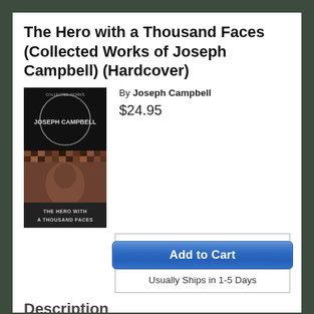The Hero with a Thousand Faces (Collected Works of Joseph Campbell) (Hardcover)
[Figure (illustration): Book cover of 'The Hero with a Thousand Faces' by Joseph Campbell. Dark cover with circular design at top showing author name 'Joseph Campbell', and a mosaic/collage image of a face made of many smaller faces below. Title text 'THE HERO WITH A THOUSAND FACES' at the bottom.]
By Joseph Campbell
$24.95
Add to Cart
Usually Ships in 1-5 Days
Description
Since its release in 1949, The Hero with a Thousand Faces has influenced millions of readers by combining the insights of modern psychology with Joseph Campbell's